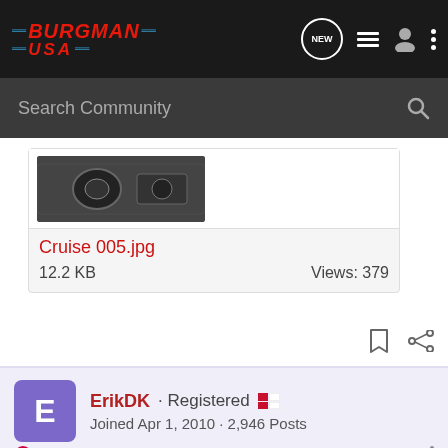BURGMAN USA — Navigation bar with search
[Figure (screenshot): Thumbnail of a scooter dashboard image labeled Cruise 005.jpg, 12.2 KB, Views: 379]
Cruise 005.jpg
12.2 KB   Views: 379
ErikDK · Registered 🇩🇰
Joined Apr 1, 2010 · 2,946 Posts
Discussion Starter · #14 · Apr 9, 2013
Thanks to the mod for merging my two threads.
I've found the recopy for changing the ABS symbol to a